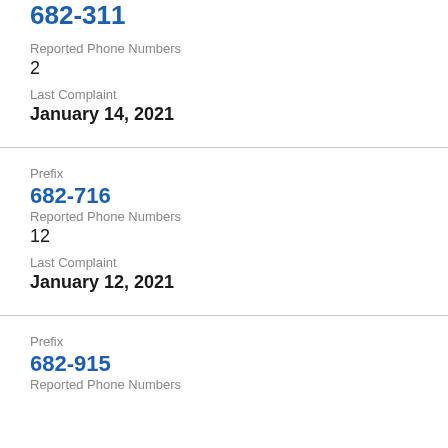682-311
Reported Phone Numbers
2
Last Complaint
January 14, 2021
Prefix
682-716
Reported Phone Numbers
12
Last Complaint
January 12, 2021
Prefix
682-915
Reported Phone Numbers